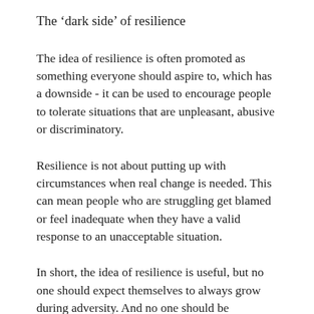The ‘dark side’ of resilience
The idea of resilience is often promoted as something everyone should aspire to, which has a downside - it can be used to encourage people to tolerate situations that are unpleasant, abusive or discriminatory.
Resilience is not about putting up with circumstances when real change is needed. This can mean people who are struggling get blamed or feel inadequate when they have a valid response to an unacceptable situation.
In short, the idea of resilience is useful, but no one should expect themselves to always grow during adversity. And no one should be